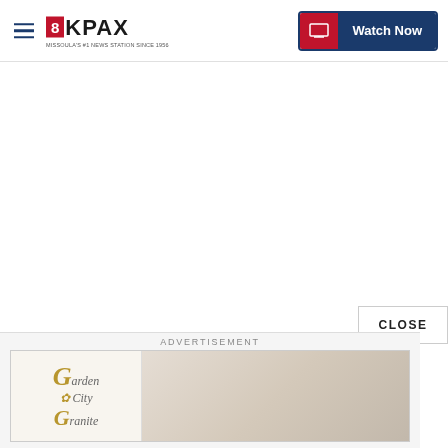[Figure (logo): 8KPAX television station logo with red box containing '8', followed by 'KPAX' in bold, with subtitle text below]
[Figure (screenshot): Watch Now button with red TV monitor icon on left and dark blue background with white text 'Watch Now']
CLOSE
ADVERTISEMENT
[Figure (logo): Garden City Granite advertisement banner with logo on left showing stylized G, City, Granite text in gold/italic serif font, and a light beige/stone image area on the right]